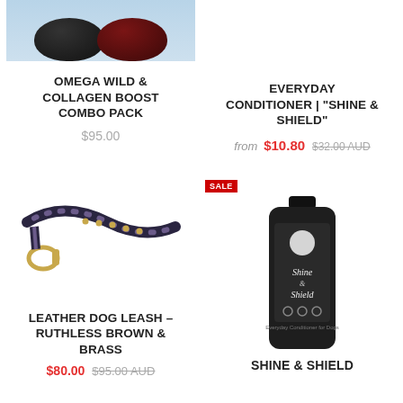[Figure (photo): Two pet food bowls, one black and one dark red/burgundy, viewed from above against a light blue background]
OMEGA WILD & COLLAGEN BOOST COMBO PACK
$95.00
EVERYDAY CONDITIONER | "SHINE & SHIELD"
from $10.80 $32.00 AUD
[Figure (photo): Dark navy/purple leather dog leash with brass studs and brass clip hook, on white background]
LEATHER DOG LEASH – RUTHLESS BROWN & BRASS
$80.00 $95.00 AUD
[Figure (photo): Dark bottle of Shine & Shield everyday conditioner for dogs, amber/dark glass bottle with white label text]
SHINE & SHIELD